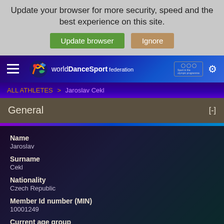Update your browser for more security, speed and the best experience on this site.
Update browser   Ignore
[Figure (screenshot): World DanceSport Federation navigation bar with logo, hamburger menu, Olympic badge, and settings gear icon]
ALL ATHLETES > Jaroslav Cekl
General [-]
Name
Jaroslav
Surname
Cekl
Nationality
Czech Republic
Member Id number (MIN)
10001249
Current age group